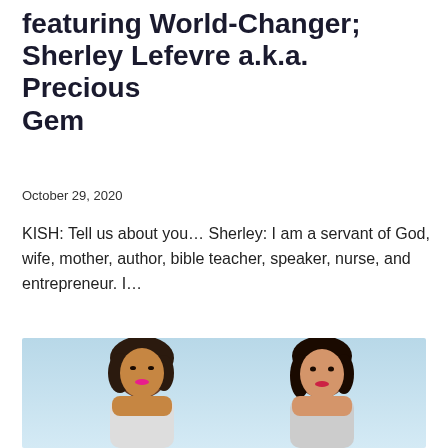featuring World-Changer; Sherley Lefevre a.k.a. Precious Gem
October 29, 2020
KISH: Tell us about you… Sherley: I am a servant of God, wife, mother, author, bible teacher, speaker, nurse, and entrepreneur. I…
[Figure (photo): Two women posing against a light blue background. The woman on the left has dark curly hair and pink lipstick. The woman on the right has dark straight hair.]